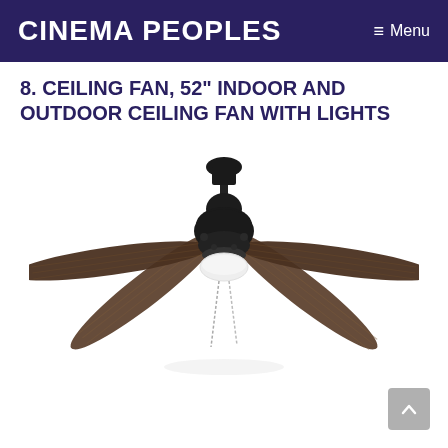Cinema Peoples   ≡ Menu
8. CEILING FAN, 52" INDOOR AND OUTDOOR CEILING FAN WITH LIGHTS
[Figure (photo): A ceiling fan with 4 dark wood grain blades, a black motor housing, a white dome light kit, and pull chains hanging below. The fan is photographed from a slightly below-center angle against a white background.]